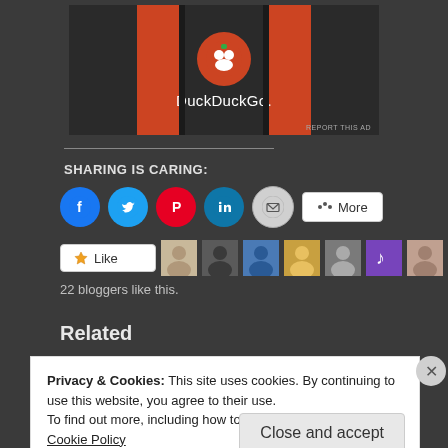[Figure (logo): DuckDuckGo advertisement banner with orange side panels and logo on dark background, with REPORT THIS AD label]
SHARING IS CARING:
[Figure (infographic): Social sharing buttons: Facebook (blue circle), Twitter (light blue circle), Pinterest (red circle), LinkedIn (teal circle), Email (grey circle), More button]
[Figure (infographic): Like button with star icon followed by 10 blogger avatar thumbnails]
22 bloggers like this.
Related
Privacy & Cookies: This site uses cookies. By continuing to use this website, you agree to their use.
To find out more, including how to control cookies, see here: Cookie Policy